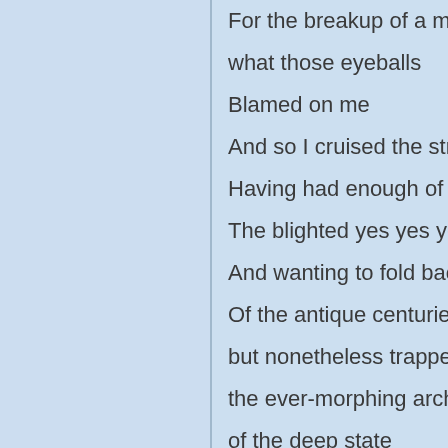For the breakup of a marriage or
what those eyeballs
Blamed on me
And so I cruised the streets more
Having had enough of the crowds
The blighted yes yes yes
And wanting to fold back into my
Of the antique centuries
but nonetheless trapped here ins
the ever-morphing architecture
of the deep state
Which is a system of course
More than a structure
The players, coded, who change